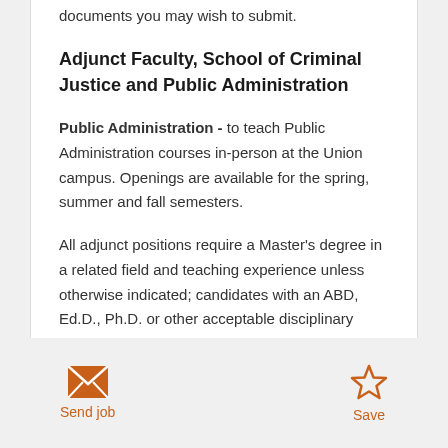documents you may wish to submit.
Adjunct Faculty, School of Criminal Justice and Public Administration
Public Administration - to teach Public Administration courses in-person at the Union campus. Openings are available for the spring, summer and fall semesters.
All adjunct positions require a Master's degree in a related field and teaching experience unless otherwise indicated; candidates with an ABD, Ed.D., Ph.D. or other acceptable disciplinary doctorate are
Send job   Save